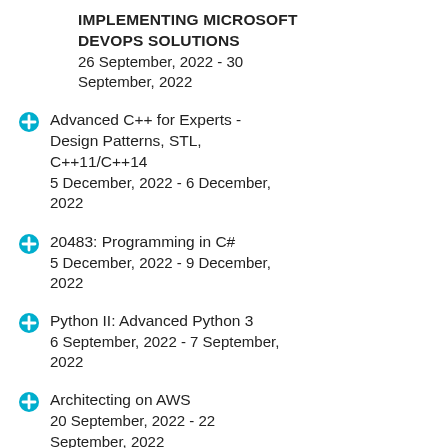IMPLEMENTING MICROSOFT DEVOPS SOLUTIONS
26 September, 2022 - 30 September, 2022
Advanced C++ for Experts - Design Patterns, STL, C++11/C++14
5 December, 2022 - 6 December, 2022
20483: Programming in C#
5 December, 2022 - 9 December, 2022
Python II: Advanced Python 3
6 September, 2022 - 7 September, 2022
Architecting on AWS
20 September, 2022 - 22 September, 2022
See our complete public course